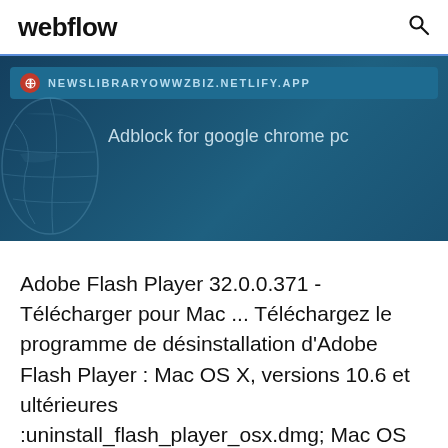webflow
[Figure (screenshot): Browser screenshot showing a dark blue banner with URL bar reading NEWSLIBRARYOWWZBIZ.NETLIFY.APP and a search phrase 'Adblock for google chrome pc' on a teal/dark blue background with a faint globe/map figure on the left.]
Adobe Flash Player 32.0.0.371 - Télécharger pour Mac ... Téléchargez le programme de désinstallation d'Adobe Flash Player : Mac OS X, versions 10.6 et ultérieures :uninstall_flash_player_osx.dmg; Mac OS X, versions 10.4 et 10.5 : uninstall_flash_player_osx.dmg; Le